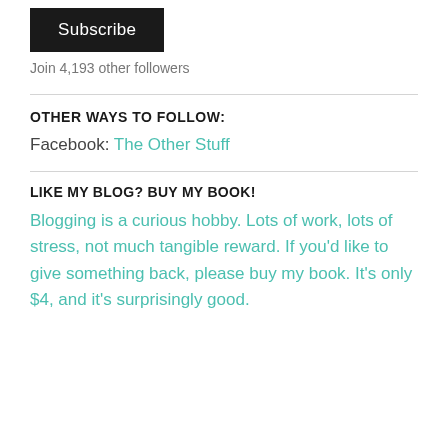[Figure (other): Subscribe button — dark black rectangular button with white text reading 'Subscribe']
Join 4,193 other followers
OTHER WAYS TO FOLLOW:
Facebook: The Other Stuff
LIKE MY BLOG? BUY MY BOOK!
Blogging is a curious hobby. Lots of work, lots of stress, not much tangible reward. If you'd like to give something back, please buy my book. It's only $4, and it's surprisingly good.